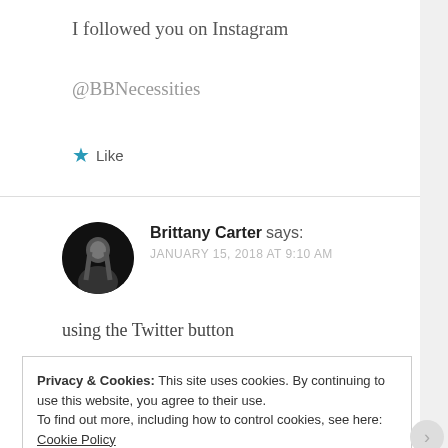I followed you on Instagram
@BBNecessities
★ Like
Brittany Carter says: JANUARY 15, 2018 AT 9:10 AM
using the Twitter button
Privacy & Cookies: This site uses cookies. By continuing to use this website, you agree to their use.
To find out more, including how to control cookies, see here: Cookie Policy
Close and accept